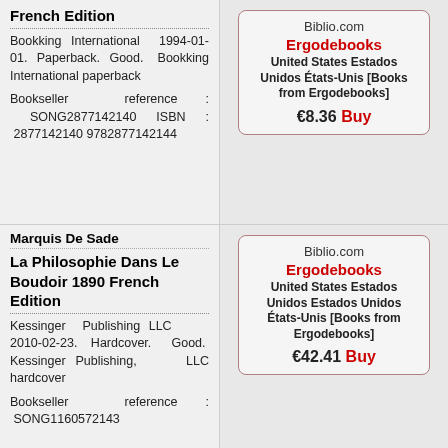French Edition
Bookking International 1994-01-01. Paperback. Good. Bookking International paperback
Bookseller reference : SONG2877142140 ISBN : 2877142140 9782877142144
Biblio.com Ergodebooks United States Estados Unidos États-Unis [Books from Ergodebooks] €8.36 Buy
Marquis De Sade
La Philosophie Dans Le Boudoir 1890 French Edition
Kessinger Publishing LLC 2010-02-23. Hardcover. Good. Kessinger Publishing, LLC hardcover
Bookseller reference : SONG1160572143
Biblio.com Ergodebooks United States Estados Unidos Estados Unidos États-Unis [Books from Ergodebooks] €42.41 Buy